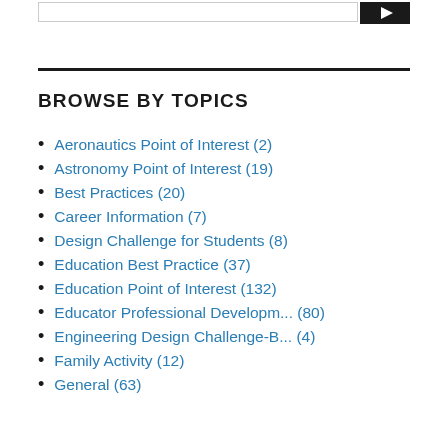BROWSE BY TOPICS
Aeronautics Point of Interest (2)
Astronomy Point of Interest (19)
Best Practices (20)
Career Information (7)
Design Challenge for Students (8)
Education Best Practice (37)
Education Point of Interest (132)
Educator Professional Developm... (80)
Engineering Design Challenge-B... (4)
Family Activity (12)
General (63)